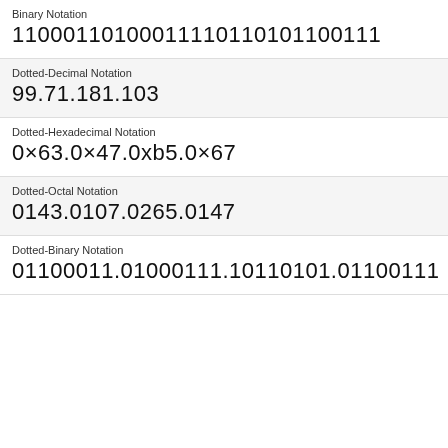Binary Notation
11000110100011110110101100111
Dotted-Decimal Notation
99.71.181.103
Dotted-Hexadecimal Notation
0×63.0×47.0xb5.0×67
Dotted-Octal Notation
0143.0107.0265.0147
Dotted-Binary Notation
01100011.01000111.10110101.01100111